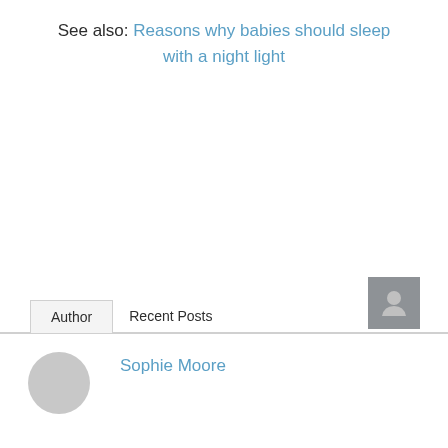See also: Reasons why babies should sleep with a night light
Author | Recent Posts
Sophie Moore